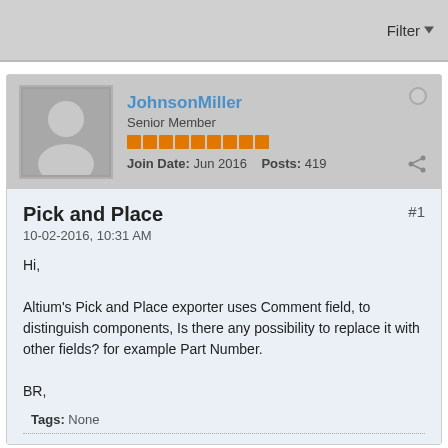Filter
JohnsonMiller
Senior Member
Join Date: Jun 2016  Posts: 419
Pick and Place
10-02-2016, 10:31 AM
Hi,

Altium's Pick and Place exporter uses Comment field, to distinguish components, Is there any possibility to replace it with other fields? for example Part Number.

BR,
Tags: None
JohnsonMiller
Senior Member